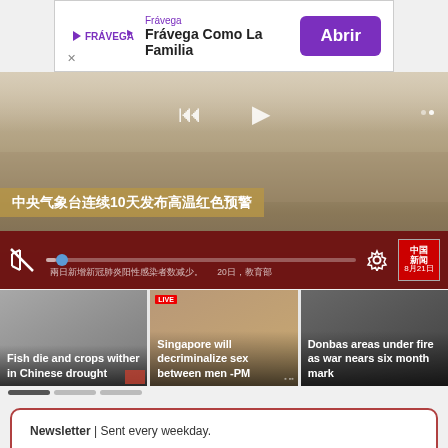[Figure (screenshot): Advertisement banner for Frávega featuring logo, tagline 'Frávega Como La Familia' and purple 'Abrir' button]
[Figure (screenshot): Video player showing Chinese news broadcast with river/drought scene, controls, red control bar, Chinese headline ticker reading '中央气象台连续10天发布高温红色预警', and bottom ticker with date 8月21日]
[Figure (screenshot): Thumbnail strip with three news cards: 'Fish die and crops wither in Chinese drought', 'Singapore will decriminalize sex between men -PM', 'Donbas areas under fire as war nears six month mark']
Newsletter | Sent every weekday.
Reuters Daily Briefing